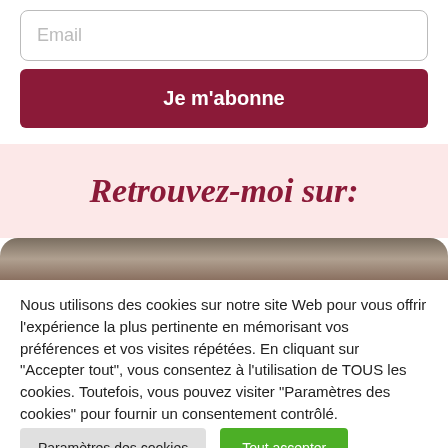Email
Je m'abonne
Retrouvez-moi sur:
[Figure (photo): Partial top of a person's head/hair visible as a photo strip]
Nous utilisons des cookies sur notre site Web pour vous offrir l'expérience la plus pertinente en mémorisant vos préférences et vos visites répétées. En cliquant sur "Accepter tout", vous consentez à l'utilisation de TOUS les cookies. Toutefois, vous pouvez visiter "Paramètres des cookies" pour fournir un consentement contrôlé.
Paramètres des cookies
Tout accepter